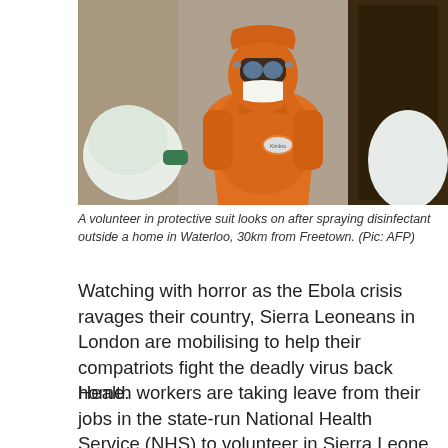[Figure (photo): A volunteer wearing an orange protective hazmat suit with goggles and a white mask, standing outside a home. The person is photographed from the chest up, looking directly at the camera. The background shows a weathered wall and a dark wooden door.]
A volunteer in protective suit looks on after spraying disinfectant outside a home in Waterloo, 30km from Freetown. (Pic: AFP)
Watching with horror as the Ebola crisis ravages their country, Sierra Leoneans in London are mobilising to help their compatriots fight the deadly virus back home.
Health workers are taking leave from their jobs in the state-run National Health Service (NHS) to volunteer in Sierra Leone, where at least 1 200